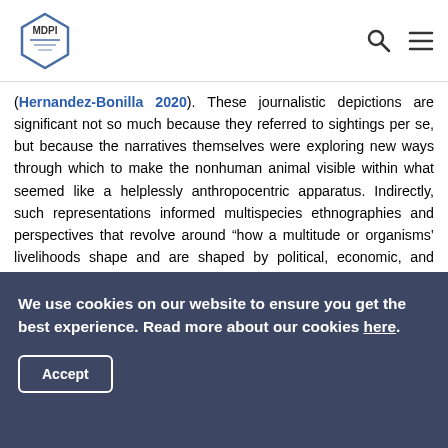MDPI
(Hernandez-Bonilla 2020). These journalistic depictions are significant not so much because they referred to sightings per se, but because the narratives themselves were exploring new ways through which to make the nonhuman animal visible within what seemed like a helplessly anthropocentric apparatus. Indirectly, such representations informed multispecies ethnographies and perspectives that revolve around “how a multitude or organisms’ livelihoods shape and are shaped by political, economic, and cultural forces” (Kirksey and Helmreich 2010, p. 545). In this sense, nonhuman animality has the potential to be conceived and assimilated not as dichotomous from human cultures, but as embodiments that
We use cookies on our website to ensure you get the best experience. Read more about our cookies here.
Accept